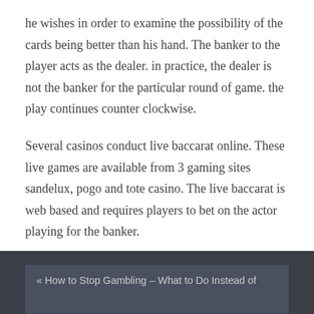he wishes in order to examine the possibility of the cards being better than his hand. The banker to the player acts as the dealer. in practice, the dealer is not the banker for the particular round of game. the play continues counter clockwise.
Several casinos conduct live baccarat online. These live games are available from 3 gaming sites sandelux, pogo and tote casino. The live baccarat is web based and requires players to bet on the actor playing for the banker.
Categories: Gambling
« How to Stop Gambling – What to Do Instead of